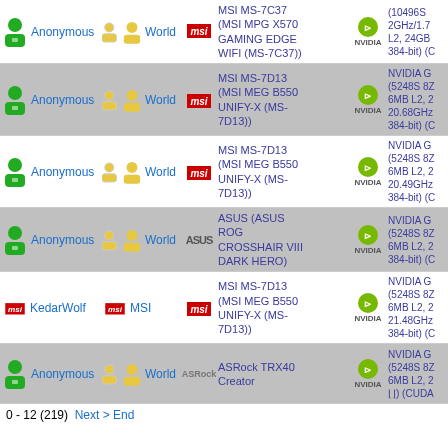Anonymous | World | MSI MS-7C37 (MSI MPG X570 GAMING EDGE WIFI (MS-7C37)) | NVIDIA (10496S 2GHz/1.7 L2, 24GB 384-bit)
Anonymous | World | MSI MS-7D13 (MSI MEG B550 UNIFY-X (MS-7D13)) | NVIDIA G (5248S 82 6MB L2, 20.68GHz 384-bit)
Anonymous | World | MSI MS-7D13 (MSI MEG B550 UNIFY-X (MS-7D13)) | NVIDIA G (5248S 82 6MB L2, 20.49GHz 384-bit)
Anonymous | World | ASUS (ASUS ROG CROSSHAIR VIII DARK HERO) | NVIDIA G (5248S 82 6MB L2, 384-bit)
KedarWolf | MSI | MSI MS-7D13 (MSI MEG B550 UNIFY-X (MS-7D13)) | NVIDIA G (5248S 82 6MB L2, 21.48GHz 384-bit)
Anonymous | World | ASRock TRX40 Creator | NVIDIA G (5248S 82 6MB L2, []) (CUDA)
0 - 12 (219)  Next > End